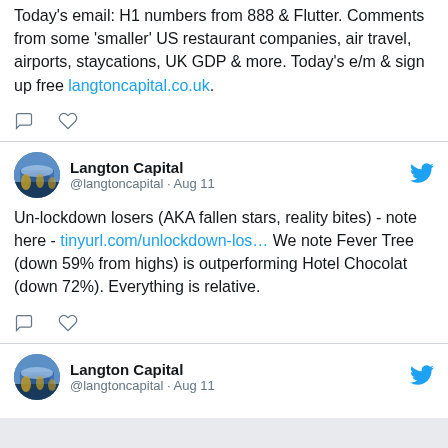Today's email: H1 numbers from 888 & Flutter. Comments from some 'smaller' US restaurant companies, air travel, airports, staycations, UK GDP & more. Today's e/m & sign up free langtoncapital.co.uk.
[Figure (screenshot): Twitter action icons: comment bubble and heart]
Langton Capital @langtoncapital · Aug 11
Un-lockdown losers (AKA fallen stars, reality bites) - note here - tinyurl.com/unlockdown-los... We note Fever Tree (down 59% from highs) is outperforming Hotel Chocolat (down 72%). Everything is relative.
[Figure (screenshot): Twitter action icons: comment bubble and heart]
Langton Capital @langtoncapital · Aug 11